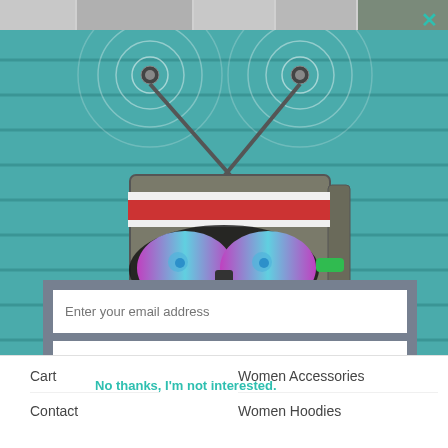[Figure (illustration): Cartoon robot TV character with antenna, wearing colorful mirror goggles and a red/white headband, on a teal wooden background. Part of a web page with product images at the top and a close (X) button in top right corner.]
Enter your email address
Name
No thanks, I'm not interested.
Cart
Women Accessories
Contact
Women Hoodies